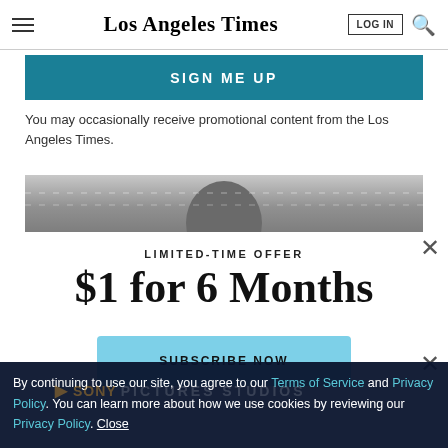Los Angeles Times | LOG IN | search
SIGN ME UP
You may occasionally receive promotional content from the Los Angeles Times.
[Figure (photo): Partial grayscale image of a person's face with dashed horizontal lines overlaid]
×
LIMITED-TIME OFFER
$1 for 6 Months
SUBSCRIBE NOW
×
By continuing to use our site, you agree to our Terms of Service and Privacy Policy. You can learn more about how we use cookies by reviewing our Privacy Policy. Close